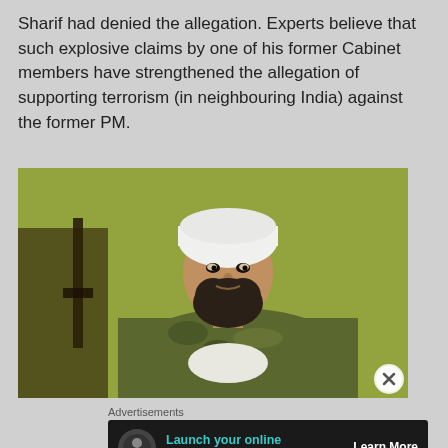Sharif had denied the allegation. Experts believe that such explosive claims by one of his former Cabinet members have strengthened the allegation of supporting terrorism (in neighbouring India) against the former PM.
[Figure (photo): A man wearing a white turban and camouflage jacket seated in front of a yellow-green tent background, with a rifle visible on the left side.]
Advertisements
[Figure (infographic): Advertisement banner: dark background with a circle icon showing a person/tree silhouette, teal text reading 'Launch your online course with WordPress', and a white underlined 'Learn More' button.]